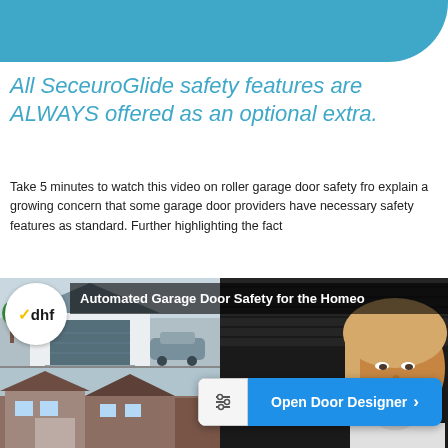SeceuroGlide Garage Doors — Service From the Door & Hardware...
All SeceuroGlide safety features are ALWAYS offered as an optional extra.
Take 5 minutes to watch this video on roller garage door safety fro... explain a growing concern that some garage door providers have... necessary safety features as standard. Further highlighting the fact...
[Figure (screenshot): DHF video thumbnail showing 'Automated Garage Door Safety for the Homeowner' with a garage house image and a blonde woman on the right side. An 'Open Door Designer' CTA button is overlaid at the bottom right.]